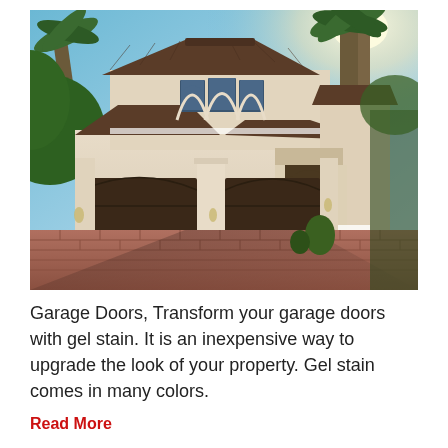[Figure (photo): A large luxury Mediterranean-style home with three dark brown garage doors, arched windows, tan stucco exterior, brick paver driveway, palm trees, and clear blue sky.]
Garage Doors, Transform your garage doors with gel stain. It is an inexpensive way to upgrade the look of your property. Gel stain comes in many colors.
Read More